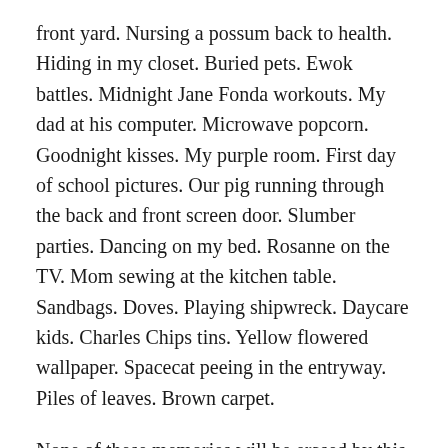front yard. Nursing a possum back to health. Hiding in my closet. Buried pets. Ewok battles. Midnight Jane Fonda workouts. My dad at his computer. Microwave popcorn. Goodnight kisses. My purple room. First day of school pictures. Our pig running through the back and front screen door. Slumber parties. Dancing on my bed. Rosanne on the TV. Mom sewing at the kitchen table. Sandbags. Doves. Playing shipwreck. Daycare kids. Charles Chips tins. Yellow flowered wallpaper. Spacecat peeing in the entryway. Piles of leaves. Brown carpet.
None of these memories will be erased by this move. I get to keep them. They are mine.
Yet there is something profoundly sad about the way this place I grew up, this place I learned about myself and the world, became. It didn't just get sold. There isn't just a new